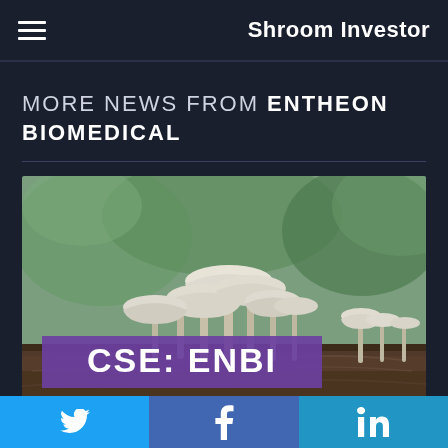Shroom Investor
MORE NEWS FROM ENTHEON BIOMEDICAL
[Figure (photo): Photograph of white mushrooms growing on a log in a forest, with a purple overlay banner reading 'CSE: ENBI']
Twitter | Facebook | LinkedIn social share buttons